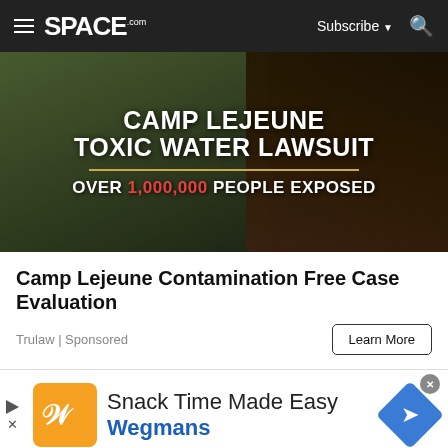SPACE.com — Subscribe — Search
[Figure (photo): Camp Lejeune Toxic Water Lawsuit advertisement image showing military personnel drinking water. Text overlay: CAMP LEJEUNE TOXIC WATER LAWSUIT OVER 1,000,000 PEOPLE EXPOSED]
Camp Lejeune Contamination Free Case Evaluation
Trulaw | Sponsored
Learn More
[Figure (logo): Wegmans advertisement: Snack Time Made Easy — Wegmans logo with orange icon and blue arrow diamond]
Snack Time Made Easy Wegmans